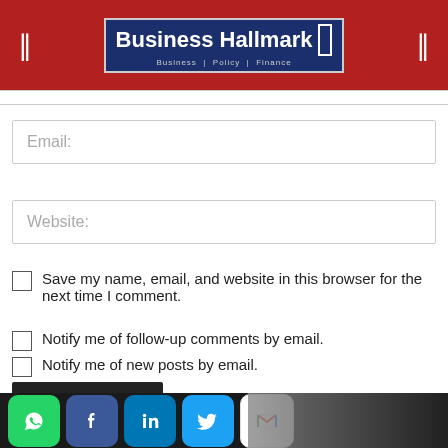Business Hallmark — Business | Policy | Finance
Email:
Website:
Save my name, email, and website in this browser for the next time I comment.
Notify me of follow-up comments by email.
Notify me of new posts by email.
Post Comment